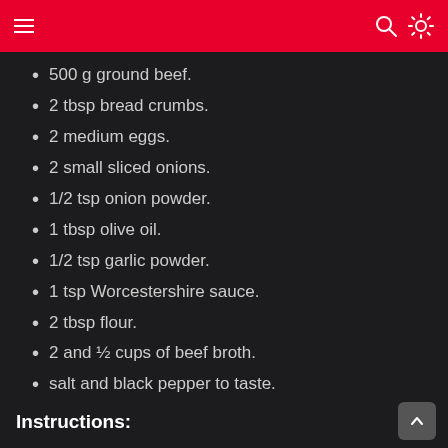Navigation bar with hamburger menu, search icon, and brightness icon
500 g ground beef.
2 tbsp bread crumbs.
2 medium eggs.
2 small sliced onions.
1/2 tsp onion powder.
1 tbsp olive oil.
1/2 tsp garlic powder.
1 tsp Worcestershire sauce.
2 tbsp flour.
2 and ½ cups of beef broth.
salt and black pepper to taste.
Instructions: